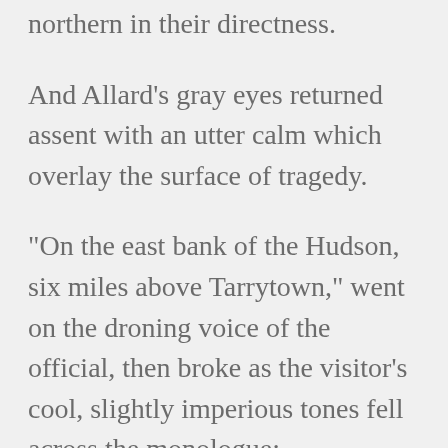northern in their directness.
And Allard's gray eyes returned assent with an utter calm which overlay the surface of tragedy.
"On the east bank of the Hudson, six miles above Tarrytown," went on the droning voice of the official, then broke as the visitor's cool, slightly imperious tones fell across the monologue:
"Ah, and is it permitted to speak with your inmates, if one has the fancy?"